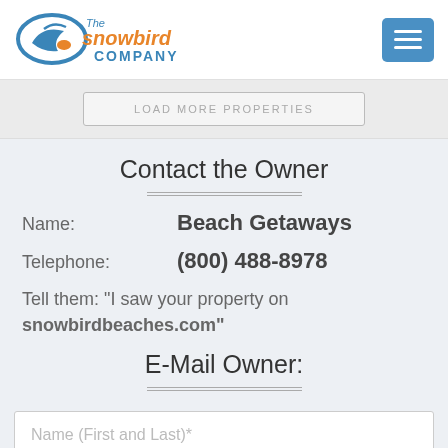[Figure (logo): The Snowbird Company logo with stylized bird and blue/orange text]
[Figure (other): Blue hamburger menu button with three white horizontal lines]
LOAD MORE PROPERTIES
Contact the Owner
Name: Beach Getaways
Telephone: (800) 488-8978
Tell them: "I saw your property on snowbirdbeaches.com"
E-Mail Owner:
Name (First and Last)*